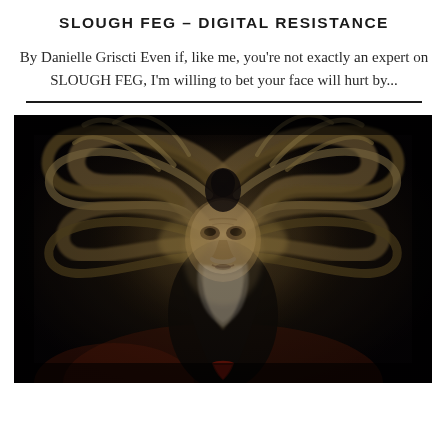SLOUGH FEG – DIGITAL RESISTANCE
By Danielle Griscti Even if, like me, you're not exactly an expert on SLOUGH FEG, I'm willing to bet your face will hurt by...
[Figure (illustration): Dark oil-painting style artwork showing a bearded elder man's face surrounded by dramatic swirling feathers or wings spread wide, dark background with some reddish tones at the bottom, fantasy/metal album art style]